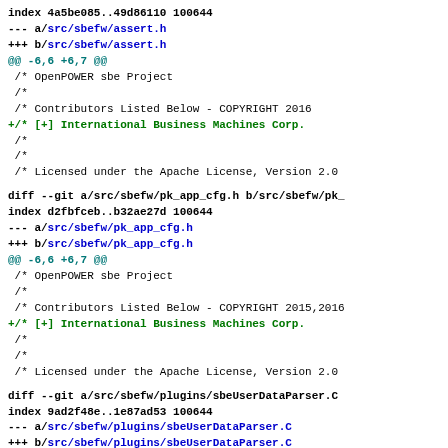index 4a5be085..49d86110 100644
--- a/src/sbefw/assert.h
+++ b/src/sbefw/assert.h
@@ -6,6 +6,7 @@
 /* OpenPOWER sbe Project
 /*
 /* Contributors Listed Below - COPYRIGHT 2016
+/* [+] International Business Machines Corp.
 /*
 /*
 /* Licensed under the Apache License, Version 2.0

diff --git a/src/sbefw/pk_app_cfg.h b/src/sbefw/pk_
index d2fbfceb..b32ae27d 100644
--- a/src/sbefw/pk_app_cfg.h
+++ b/src/sbefw/pk_app_cfg.h
@@ -6,6 +6,7 @@
 /* OpenPOWER sbe Project
 /*
 /* Contributors Listed Below - COPYRIGHT 2015,2016
+/* [+] International Business Machines Corp.
 /*
 /*
 /* Licensed under the Apache License, Version 2.0

diff --git a/src/sbefw/plugins/sbeUserDataParser.C
index 9ad2f48e..1e87ad53 100644
--- a/src/sbefw/plugins/sbeUserDataParser.C
+++ b/src/sbefw/plugins/sbeUserDataParser.C
@@ -6,6 +6,7 @@
 /* OpenPOWER sbe Project